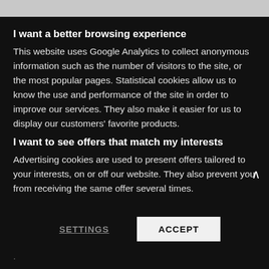I want a better browsing experience
This website uses Google Analytics to collect anonymous information such as the number of visitors to the site, or the most popular pages. Statistical cookies allow us to know the use and performance of the site in order to improve our services. They also make it easier for us to display our customers' favorite products.
I want to see offers that match my interests
Advertising cookies are used to present offers tailored to your interests, on or off our website. They also prevent you from receiving the same offer several times.
SETTINGS
ACCEPT
.